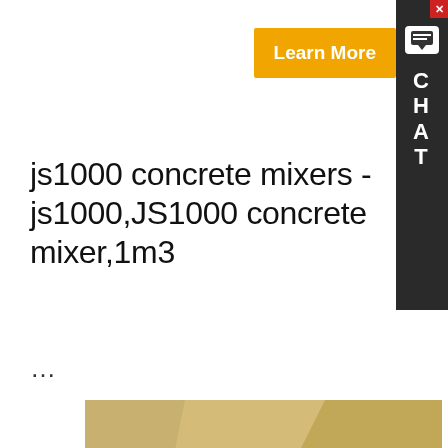js1000 concrete mixers - js1000,JS1000 concrete mixer,1m3
...
[Figure (photo): Industrial concrete mixer / heavy equipment machine in an open quarry or construction site with rocky hillside in background. A chat overlay bubble reads: Hello, glad to talk with you!Which equipment you are looking for?Kindly leave your name and email add, we will reply you with detail.]
Introduction: JS1000 is twin shaft horizontal forced